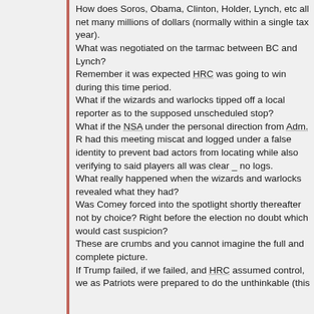How does Soros, Obama, Clinton, Holder, Lynch, etc all net many millions of dollars (normally within a single tax year).
What was negotiated on the tarmac between BC and Lynch?
Remember it was expected HRC was going to win during this time period.
What if the wizards and warlocks tipped off a local reporter as to the supposed unscheduled stop?
What if the NSA under the personal direction from Adm. R had this meeting miscat and logged under a false identity to prevent bad actors from locating while also verifying to said players all was clear _ no logs.
What really happened when the wizards and warlocks revealed what they had?
Was Comey forced into the spotlight shortly thereafter not by choice? Right before the election no doubt which would cast suspicion?
These are crumbs and you cannot imagine the full and complete picture.
If Trump failed, if we failed, and HRC assumed control, we as Patriots were prepared to do the unthinkable (this